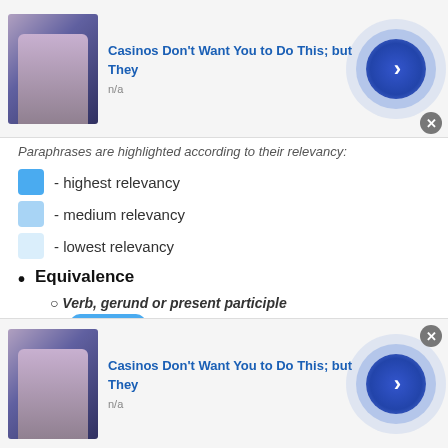[Figure (screenshot): Top advertisement banner: thumbnail image, title 'Casinos Don't Want You to Do This; but They', subtitle 'n/a', circular blue button with arrow, and close button]
Paraphrases are highlighted according to their relevancy:
- highest relevancy
- medium relevancy
- lowest relevancy
Equivalence
Verb, gerund or present participle — shrieking.
Forward Entailment
Noun, plural — shouts, vocalizations.
Verb, gerund or present participle
[Figure (screenshot): Bottom advertisement banner: thumbnail image, title 'Casinos Don't Want You to Do This; but They', subtitle 'n/a', circular blue button with arrow, and close button]